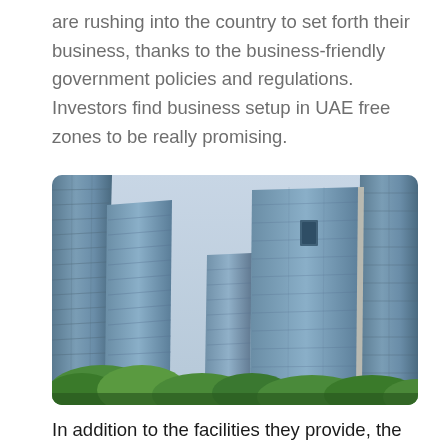are rushing into the country to set forth their business, thanks to the business-friendly government policies and regulations. Investors find business setup in UAE free zones to be really promising.
[Figure (photo): Upward-angled view of modern glass skyscrapers in a UAE free zone business district, with green trees visible at the bottom and a light blue sky.]
In addition to the facilities they provide, the laws